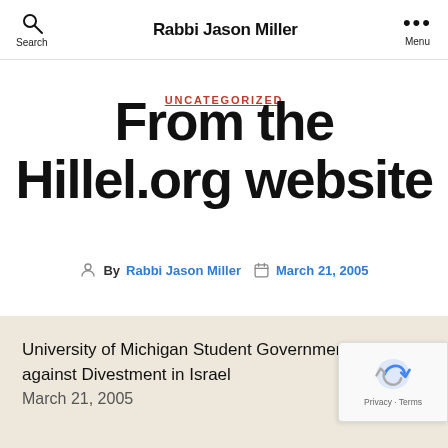Rabbi Jason Miller
UNCATEGORIZED
From the Hillel.org website
By Rabbi Jason Miller  March 21, 2005
University of Michigan Student Government against Divestment in Israel March 21, 2005